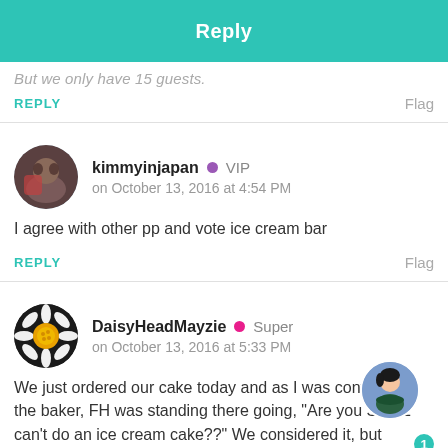Reply
But we only have 15 guests.
REPLY    Flag
kimmyinjapan • VIP
on October 13, 2016 at 4:54 PM
I agree with other pp and vote ice cream bar
REPLY    Flag
DaisyHeadMayzie • Super
on October 13, 2016 at 5:33 PM
We just ordered our cake today and as I was confirmi the baker, FH was standing there going, "Are you SURE can't do an ice cream cake??" We considered it, but decided